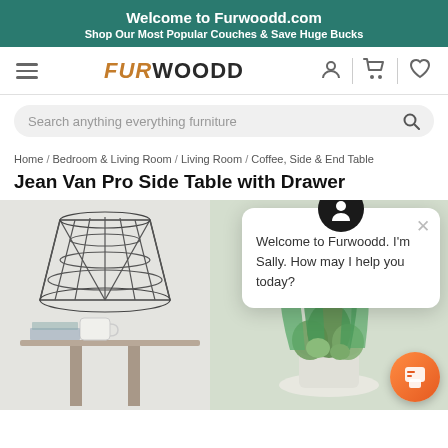Welcome to Furwoodd.com
Shop Our Most Popular Couches & Save Huge Bucks
[Figure (screenshot): Furwoodd navigation bar with hamburger menu, logo, user icon, cart icon, and heart icon]
Search anything everything furniture
Home / Bedroom & Living Room / Living Room / Coffee, Side & End Table
Jean Van Pro Side Table with Drawer
[Figure (photo): Product photo of a side table area with geometric wire decor, a white mug, books, and a plant arrangement on the right side]
Welcome to Furwoodd. I'm Sally. How may I help you today?